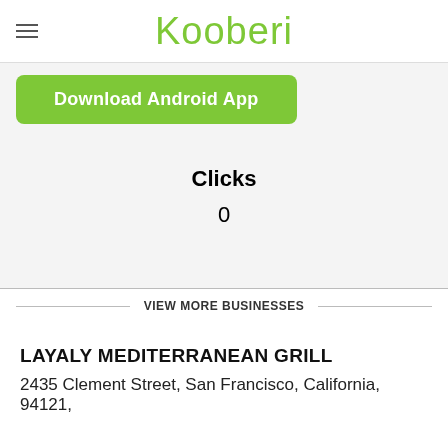Kooberi
[Figure (screenshot): Download Android App green button]
Clicks
0
VIEW MORE BUSINESSES
LAYALY MEDITERRANEAN GRILL
2435 Clement Street, San Francisco, California, 94121,